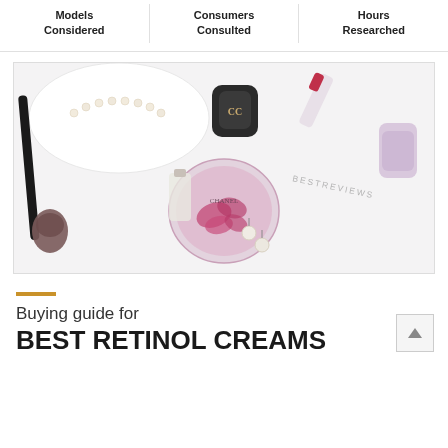Models Considered | Consumers Consulted | Hours Researched
[Figure (photo): Flat-lay photo of luxury cosmetics and beauty products on white background including a Chanel perfume bottle with flower petals, a makeup brush, pearl necklace, lipstick, and nail polish. Text 'BESTREVIEWS' visible in center of image.]
Buying guide for BEST RETINOL CREAMS